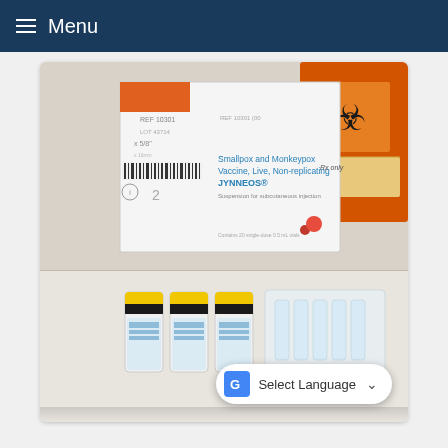Menu
[Figure (photo): Photo of JYNNEOS Smallpox and Monkeypox Vaccine, Live, Non-replicating vaccine box and multiple vials with yellow caps arranged on a white surface, with orange biohazard container and needle packaging in the background.]
Select Language